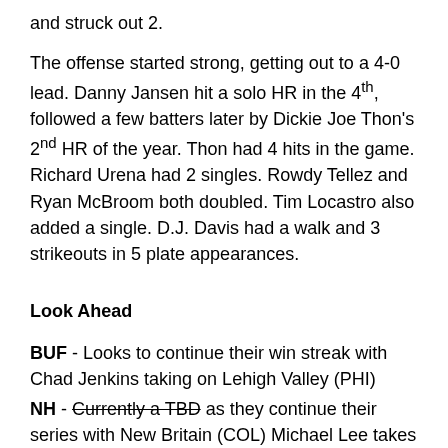and struck out 2.
The offense started strong, getting out to a 4-0 lead. Danny Jansen hit a solo HR in the 4th, followed a few batters later by Dickie Joe Thon's 2nd HR of the year. Thon had 4 hits in the game. Richard Urena had 2 singles. Rowdy Tellez and Ryan McBroom both doubled. Tim Locastro also added a single. D.J. Davis had a walk and 3 strikeouts in 5 plate appearances.
Look Ahead
BUF - Looks to continue their win streak with Chad Jenkins taking on Lehigh Valley (PHI)
NH - Currently a TBD as they continue their series with New Britain (COL) Michael Lee takes the mound for NH